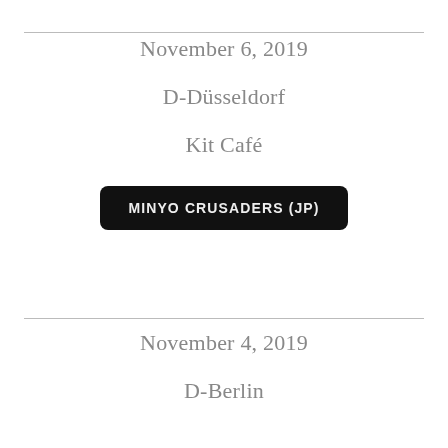November 6, 2019
D-Düsseldorf
Kit Café
MINYO CRUSADERS (JP)
November 4, 2019
D-Berlin